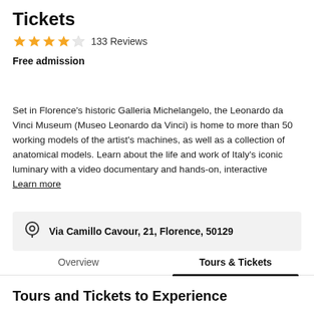Tickets
★★★★☆ 133 Reviews
Free admission
Set in Florence's historic Galleria Michelangelo, the Leonardo da Vinci Museum (Museo Leonardo da Vinci) is home to more than 50 working models of the artist's machines, as well as a collection of anatomical models. Learn about the life and work of Italy's iconic luminary with a video documentary and hands-on, interactive
Learn more
Via Camillo Cavour, 21, Florence, 50129
Overview    Tours & Tickets
Tours and Tickets to Experience